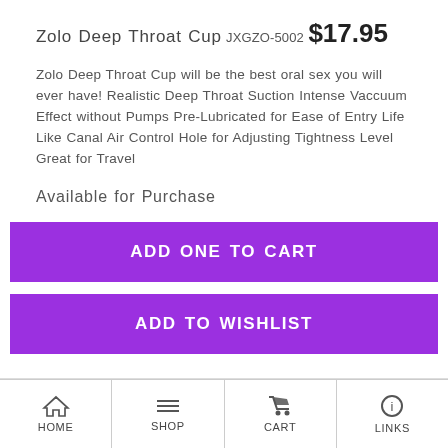Zolo Deep Throat Cup
JXGZO-5002
$17.95
Zolo Deep Throat Cup will be the best oral sex you will ever have! Realistic Deep Throat Suction Intense Vaccuum Effect without Pumps Pre-Lubricated for Ease of Entry Life Like Canal Air Control Hole for Adjusting Tightness Level Great for Travel
Available for Purchase
ADD ONE TO CART
ADD TO WISHLIST
[Figure (photo): Product image partially visible at bottom]
HOME  SHOP  CART  LINKS